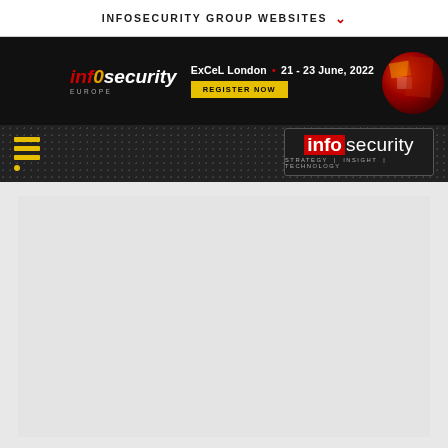INFOSECURITY GROUP WEBSITES
[Figure (screenshot): Infosecurity Europe event banner: logo with 'infosecurity EUROPE', event details 'ExCeL London • 21-23 June, 2022', yellow 'REGISTER NOW' button, circular photo of expo floor on right]
[Figure (logo): Infosecurity magazine logo: red 'info' box + white 'security' text, tagline 'STRATEGY | INSIGHT | TECHNOLOGY' in bordered rectangle on dark background]
[Figure (screenshot): Light grey empty content area placeholder below header navigation]